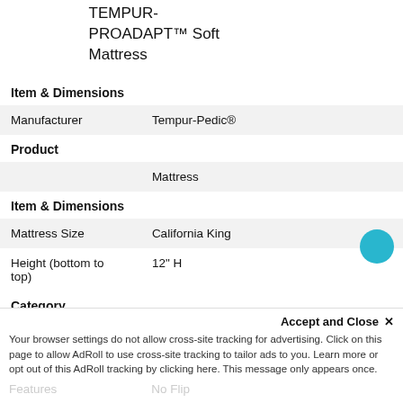TEMPUR-PROADAPT™ Soft Mattress
Item & Dimensions
|  |  |
| --- | --- |
| Manufacturer | Tempur-Pedic® |
Product
|  |  |
| --- | --- |
|  | Mattress |
Item & Dimensions
|  |  |
| --- | --- |
| Mattress Size | California King |
| Height (bottom to top) | 12" H |
Category
|  |  |
| --- | --- |
| Mattress Type | Memory Foam |
| Features | No Flip |
Accept and Close ✕
Your browser settings do not allow cross-site tracking for advertising. Click on this page to allow AdRoll to use cross-site tracking to tailor ads to you. Learn more or opt out of this AdRoll tracking by clicking here. This message only appears once.